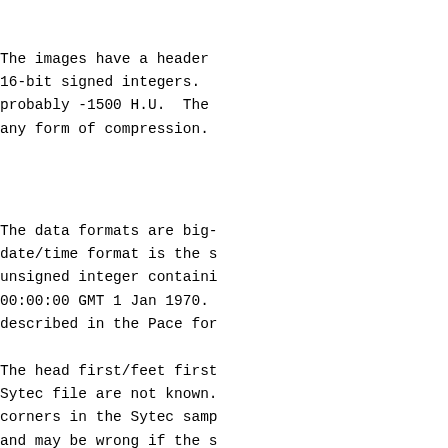The images have a header 16-bit signed integers. probably -1500 H.U.  The any form of compression.
The data formats are big- date/time format is the s unsigned integer containi 00:00:00 GMT 1 Jan 1970. described in the Pace for
The head first/feet first Sytec file are not known. corners in the Sytec samp and may be wrong if the s supine, and the images ar from bottom up in the usu